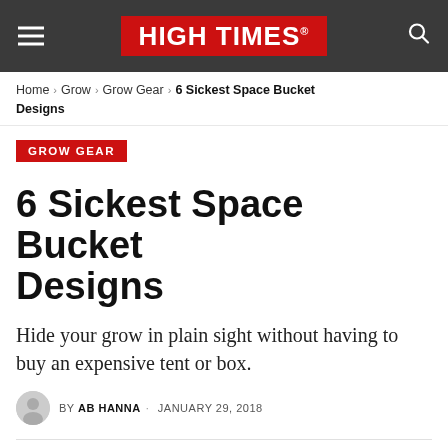HIGH TIMES
Home > Grow > Grow Gear > 6 Sickest Space Bucket Designs
GROW GEAR
6 Sickest Space Bucket Designs
Hide your grow in plain sight without having to buy an expensive tent or box.
BY AB HANNA · JANUARY 29, 2018
222 Share